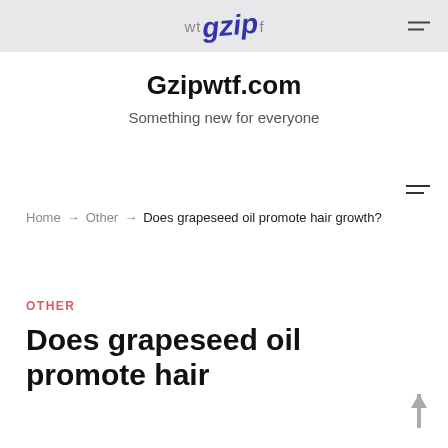wt gzip f — Gzipwtf.com
Gzipwtf.com
Something new for everyone
Home → Other → Does grapeseed oil promote hair growth?
OTHER
Does grapeseed oil promote hair growth?